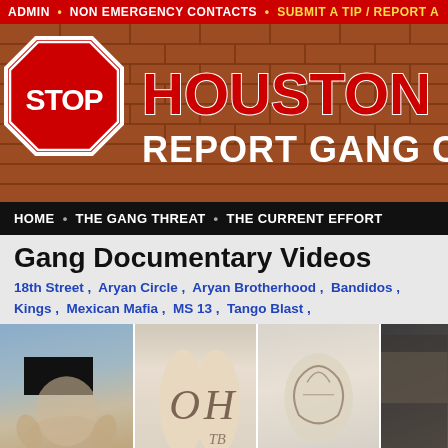ADMIN • NON EMERGENCY CONTACTS • SUBMIT A TIP / REPORT AN
[Figure (screenshot): Stop Houston Gangs website banner with STOP sign logo and brick wall background with text STOP HOUSTON GANG REPORT GANG CRI]
HOME • THE GANG THREAT • THE CURRENT EFFORT
Gang Documentary Videos
18th Street , Aryan Circle , Aryan Brotherhood , Bandidos , Kings , Mexican Mafia , MS 13 , Tango Blast ,
[Figure (photo): Four photographs showing gang members and gang-related tattoos on legs]